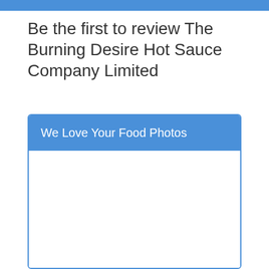Be the first to review The Burning Desire Hot Sauce Company Limited
We Love Your Food Photos